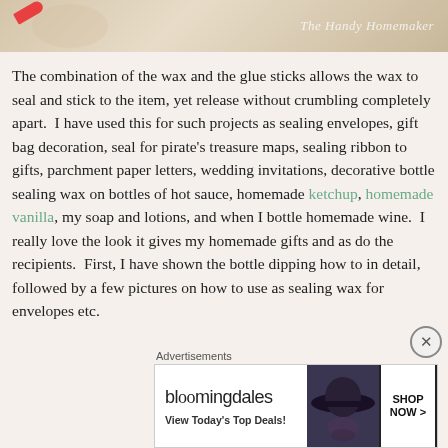[Figure (photo): Top portion of a blog page showing a decorative image with crayons/craft supplies and a 'The Handy Homemaker' watermark in italic script]
The combination of the wax and the glue sticks allows the wax to seal and stick to the item, yet release without crumbling completely apart. I have used this for such projects as sealing envelopes, gift bag decoration, seal for pirate's treasure maps, sealing ribbon to gifts, parchment paper letters, wedding invitations, decorative bottle sealing wax on bottles of hot sauce, homemade ketchup, homemade vanilla, my soap and lotions, and when I bottle homemade wine. I really love the look it gives my homemade gifts and as do the recipients. First, I have shown the bottle dipping how to in detail, followed by a few pictures on how to use as sealing wax for envelopes etc.
Advertisements
[Figure (screenshot): Bloomingdale's advertisement banner: logo, 'View Today's Top Deals!' text, woman in wide-brim hat photo, and SHOP NOW > button]